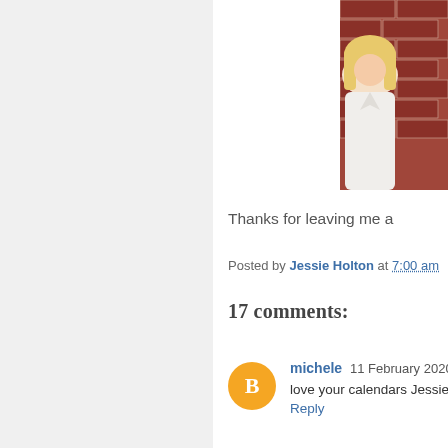[Figure (photo): Partial photo of a person with blonde hair wearing a white top, standing in front of a red brick wall. Only the right portion of the image is visible.]
Thanks for leaving me a
Posted by Jessie Holton at 7:00 am
17 comments:
michele  11 February 2020 a
love your calendars Jessie
Reply